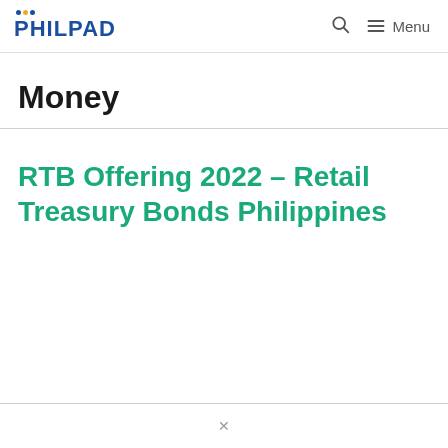PHILPAD — Menu
Money
RTB Offering 2022 – Retail Treasury Bonds Philippines